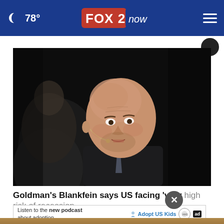78° FOX 2 now
[Figure (photo): A bald man speaking at an event, wearing a dark suit and tie with a wireless earpiece microphone, photographed against a dark background.]
Goldman's Blankfein says US facing 'very high risk of recession
[Figure (other): Ad banner: Listen to the new podcast about adoption. Adopt US Kids logo and ad badge.]